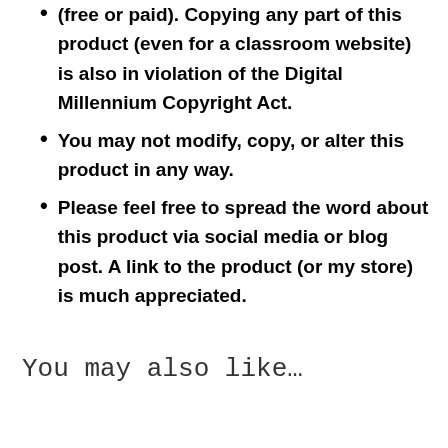(free or paid). Copying any part of this product (even for a classroom website) is also in violation of the Digital Millennium Copyright Act.
You may not modify, copy, or alter this product in any way.
Please feel free to spread the word about this product via social media or blog post. A link to the product (or my store) is much appreciated.
You may also like…